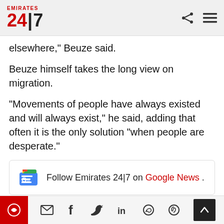Emirates 24|7 — header with logo and navigation icons
elsewhere," Beuze said.
Beuze himself takes the long view on migration.
"Movements of people have always existed and will always exist," he said, adding that often it is the only solution "when people are desperate."
[Figure (other): Google News follow button with Google News icon and text: Follow Emirates 24|7 on Google News.]
Social share bar with icons: print, email, facebook, twitter, linkedin, whatsapp, pinterest. Red circle logo and scroll-to-top button.